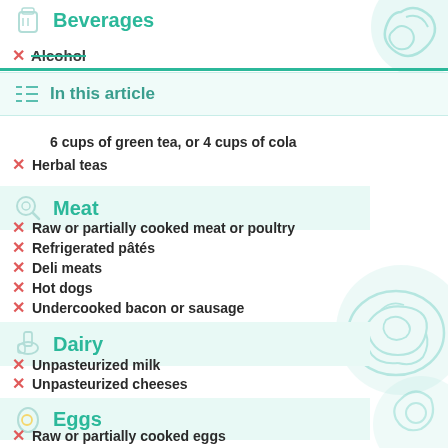Beverages
✗ Alcohol
In this article
6 cups of green tea, or 4 cups of cola
✗ Herbal teas
Meat
✗ Raw or partially cooked meat or poultry
✗ Refrigerated pâtés
✗ Deli meats
✗ Hot dogs
✗ Undercooked bacon or sausage
Dairy
✗ Unpasteurized milk
✗ Unpasteurized cheeses
Eggs
✗ Raw or partially cooked eggs
✗ Homemade mayonnaise